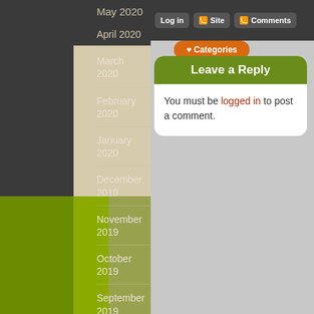Log in | Site | Comments
May 2020
April 2020
March 2020
February 2020
January 2020
December 2019
November 2019
October 2019
September 2019
August 2019
July 2019
June 2019
Leave a Reply
You must be logged in to post a comment.